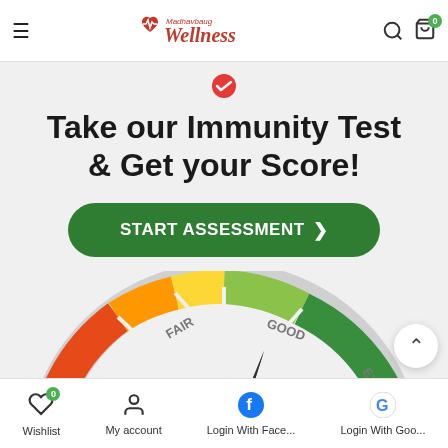Madhavbaug Wellness — navigation header with menu, logo, search, and cart (0)
Take our Immunity Test & Get your Score!
START ASSESSMENT >
[Figure (infographic): A gauge/speedometer graphic showing immunity score levels: POOR (orange-red), FAIR (yellow), GOOD (light green), EXCELLENT (dark green). The needle points toward the GOOD zone.]
Wishlist (0) | My account | Login With Face... | Login With Goo...